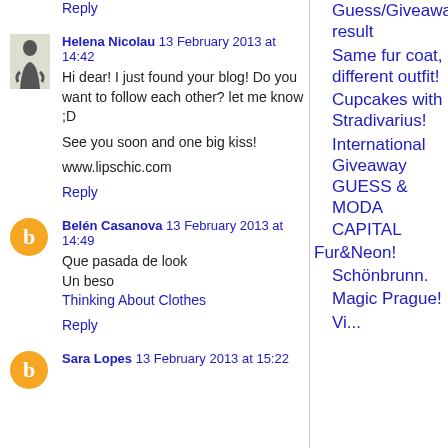Reply
Helena Nicolau  13 February 2013 at 14:42
Hi dear! I just found your blog! Do you want to follow each other? let me know ;D

See you soon and one big kiss!

www.lipschic.com
Reply
Belén Casanova  13 February 2013 at 14:49
Que pasada de look
Un beso
Thinking About Clothes
Reply
Sara Lopes  13 February 2013 at 15:22
Guess/Giveaway result
Same fur coat, different outfit!
Cupcakes with Stradivarius!
International Giveaway GUESS & MODA CAPITAL
Fur&Neon!
Schönbrunn.
Magic Prague!
Vi...